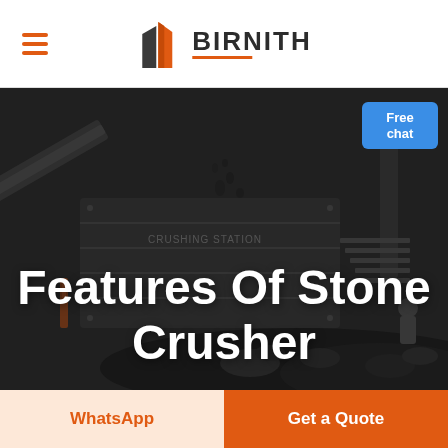[Figure (logo): BIRNITH company logo with orange building icon and company name]
[Figure (photo): Industrial stone crusher / crushing station machinery in dark monochrome setting with rocks and equipment]
Features Of Stone Crusher
Free chat
WhatsApp
Get a Quote